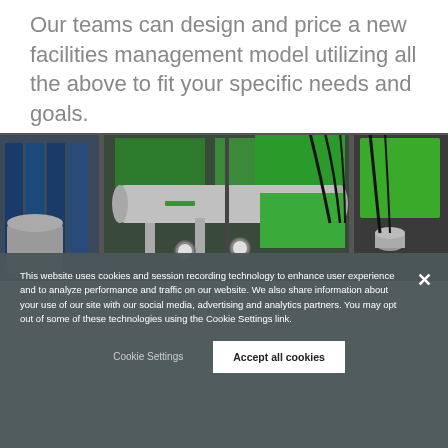Our teams can design and price a new facilities management model utilizing all the above to fit your specific needs and goals.
[Figure (photo): Industrial facilities management photo showing pipes, cylinders, pressure gauges, tubing, and green-accented mechanical equipment in a manufacturing or processing facility.]
This website uses cookies and session recording technology to enhance user experience and to analyze performance and traffic on our website. We also share information about your use of our site with our social media, advertising and analytics partners. You may opt out of some of these technologies using the Cookie Settings link.